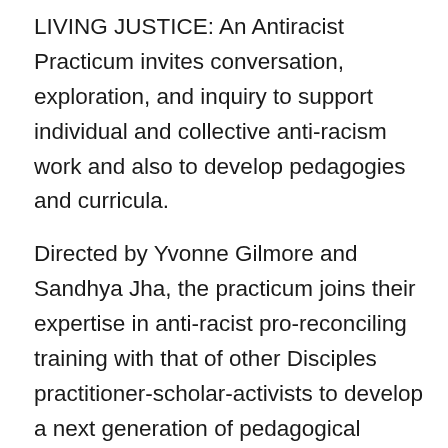LIVING JUSTICE: An Antiracist Practicum invites conversation, exploration, and inquiry to support individual and collective anti-racism work and also to develop pedagogies and curricula.
Directed by Yvonne Gilmore and Sandhya Jha, the practicum joins their expertise in anti-racist pro-reconciling training with that of other Disciples practitioner-scholar-activists to develop a next generation of pedagogical approaches and resources.The project expresses DDH's commitment to innovative ministry and to thinking critically and constructively. A second grant from the Oreon E. Scott Foundation, together with continuing leadership from Yvonne Gilmore and Sandhya Jha, will allow DDH to offer